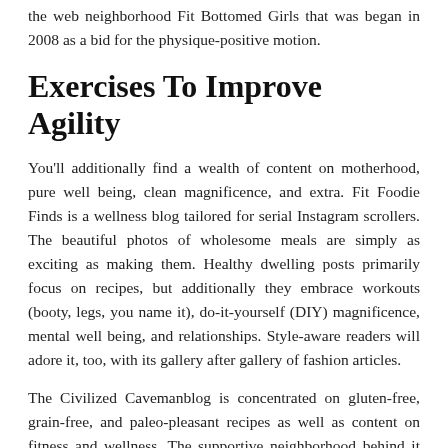the web neighborhood Fit Bottomed Girls that was began in 2008 as a bid for the physique-positive motion.
Exercises To Improve Agility
You'll additionally find a wealth of content on motherhood, pure well being, clean magnificence, and extra. Fit Foodie Finds is a wellness blog tailored for serial Instagram scrollers. The beautiful photos of wholesome meals are simply as exciting as making them. Healthy dwelling posts primarily focus on recipes, but additionally they embrace workouts (booty, legs, you name it), do-it-yourself (DIY) magnificence, mental well being, and relationships. Style-aware readers will adore it, too, with its gallery after gallery of fashion articles.
The Civilized Cavemanblog is concentrated on gluten-free, grain-free, and paleo-pleasant recipes as well as content on fitness and wellness. The supportive neighborhood behind it believes that wholesome eating is only simply a part of a